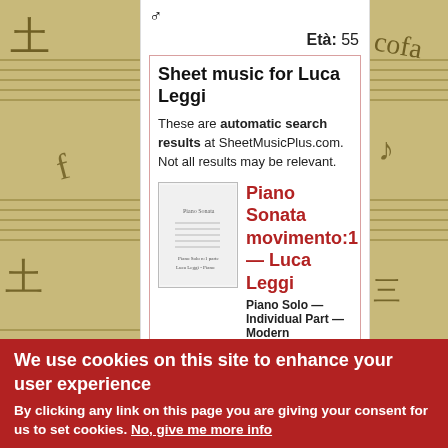♂
Età: 55
Sheet music for Luca Leggi
These are automatic search results at SheetMusicPlus.com. Not all results may be relevant.
Piano Sonata movimento:1 — Luca Leggi
Piano Solo — Individual Part — Modern
Composed by Luca Leggi. Modern. Individual Part. 8 pages. Published by Luca Leggi (S0.252375).
Price: $11.00
Piano Sonata movimento:
We use cookies on this site to enhance your user experience
By clicking any link on this page you are giving your consent for us to set cookies. No, give me more info